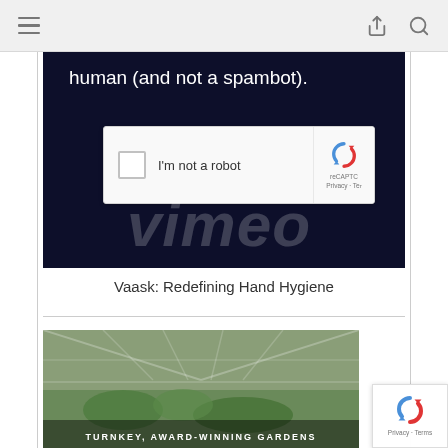Navigation bar with hamburger menu, share icon, and search icon
[Figure (screenshot): Dark navy Vimeo video panel showing text 'human (and not a spambot).' with a reCAPTCHA 'I'm not a robot' checkbox widget overlaid, and the Vimeo logo watermark at the bottom]
Vaask: Redefining Hand Hygiene
[Figure (photo): Thumbnail image of a greenhouse or garden with text overlay 'TURNKEY, AWARD-WINNING GARDENS']
[Figure (screenshot): reCAPTCHA Privacy-Terms badge in bottom right corner]